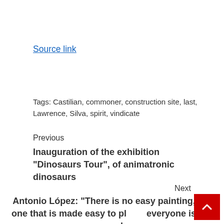Source link
Tags: Castilian, commoner, construction site, last, Lawrence, Silva, spirit, vindicate
Previous
Inauguration of the exhibition "Dinosaurs Tour", of animatronic dinosaurs
Next
Antonio López: "There is no easy painting, the one that is made easy to pl... everyone is not good